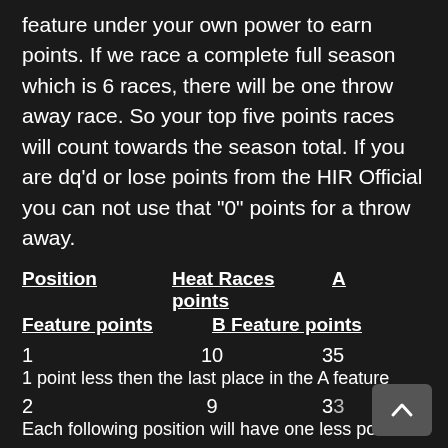feature under your own power to earn points. If we race a complete full season which is 6 races, there will be one throw away race. So your top five points races will count towards the season total. If you are dq'd or lose points from the HIR Official you can not use that "0" points for a throw away.
| Position | Heat Races points | A Feature points | B Feature points |
| --- | --- | --- | --- |
| 1 | 10 | 35 | 1 point less then the last place in the A feature |
| 2 | 9 | 33 | Each following position will have one less point |